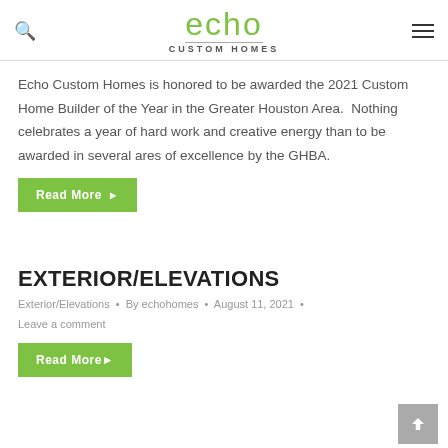echo CUSTOM HOMES
Echo Custom Homes is honored to be awarded the 2021 Custom Home Builder of the Year in the Greater Houston Area.  Nothing celebrates a year of hard work and creative energy than to be awarded in several ares of excellence by the GHBA.
Read More ▶
EXTERIOR/ELEVATIONS
Exterior/Elevations • By echohomes • August 11, 2021 • Leave a comment
Read More ▶